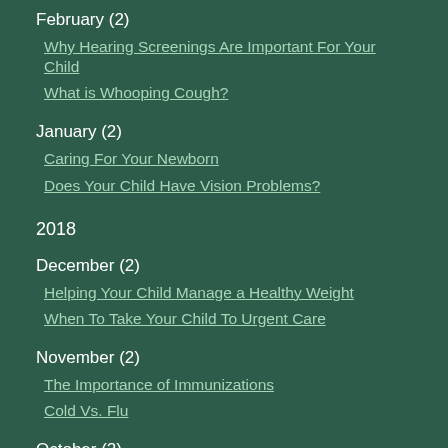February (2)
Why Hearing Screenings Are Important For Your Child
What is Whooping Cough?
January (2)
Caring For Your Newborn
Does Your Child Have Vision Problems?
2018
December (2)
Helping Your Child Manage a Healthy Weight
When To Take Your Child To Urgent Care
November (2)
The Importance of Immunizations
Cold Vs. Flu
October (2)
Common Sports Injuries and How Your Pediatrician Help
What to Expect at a Sports Physical
September (1)
Should My Child Have a Behavioral Consultation?
August (3)
When to Visit a Pediatrician